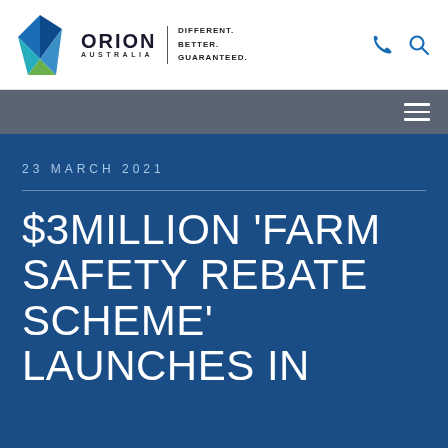[Figure (logo): Orion Australia logo with blue/green diamond shape and brand name, tagline DIFFERENT. BETTER. GUARANTEED.]
23 MARCH 2021
$3MILLION 'FARM SAFETY REBATE SCHEME' LAUNCHES IN